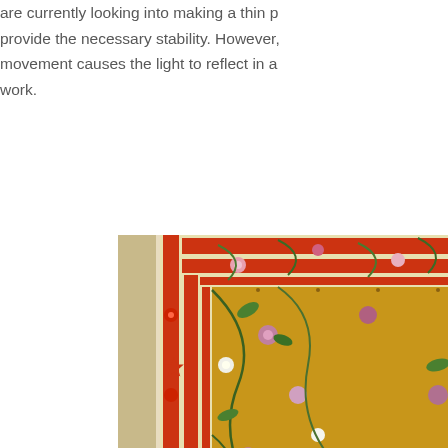are currently looking into making a thin p provide the necessary stability. However, movement causes the light to reflect in a work.
[Figure (photo): Close-up photograph of an illuminated manuscript page showing decorative floral border with red stripes and gold background with pink, red, and white flowers and green leaves. The lower right shows a dark scene with a blue sky.]